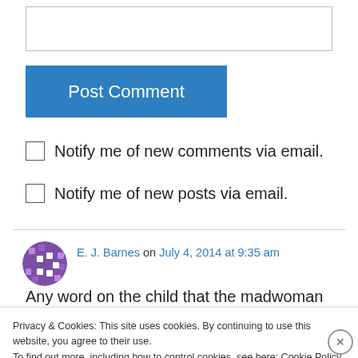[Figure (other): Text input/comment box (empty, bordered rectangle)]
Post Comment
Notify me of new comments via email.
Notify me of new posts via email.
[Figure (other): Avatar icon for E.J. Barnes — circular purple mosaic/pixel art]
E. J. Barnes on July 4, 2014 at 9:35 am
Any word on the child that the madwoman had
Privacy & Cookies: This site uses cookies. By continuing to use this website, you agree to their use.
To find out more, including how to control cookies, see here: Cookie Policy
Close and accept
[Figure (other): Partial avatar for Brian Bixby — brown/orange circular icon]
Brian Bixby on July 4, 2014 at 11:44 am